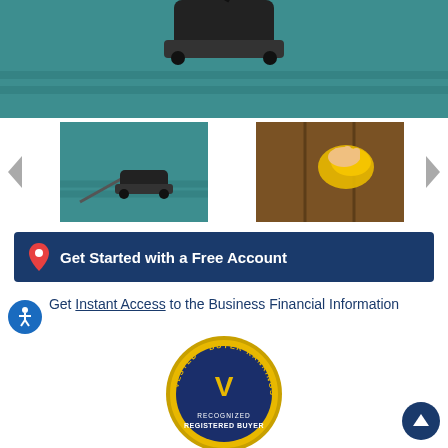[Figure (photo): Close-up of a vacuum cleaner head on teal/green carpet]
[Figure (photo): Two thumbnail images: left shows vacuum cleaner head on teal carpet; right shows a hand cleaning wooden surface with yellow cloth. Navigation arrows on left and right sides. Accessibility icon button on lower left.]
Get Started with a Free Account
Get Instant Access to the Business Financial Information
[Figure (logo): Vested Buyer Rankings badge - gold circular seal with navy blue center, showing a V logo and text RECOGNIZED REGISTERED BUYER]
[Figure (other): Scroll-to-top button (dark blue circle with upward arrow)]